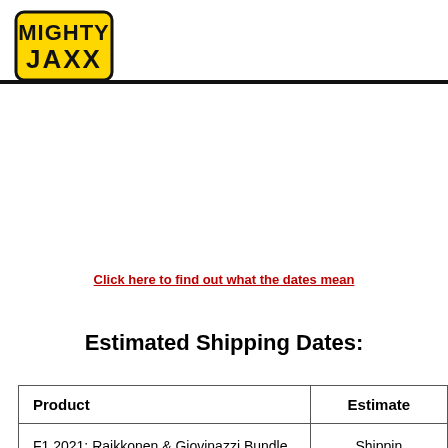Mighty Jaxx logo and header line
Click here to find out what the dates mean
Estimated Shipping Dates:
| Product | Estimated Shipping Date |
| --- | --- |
| F1 2021: Raikkonen & Giovinazzi Bundle | Shipping... |
| F1 2021: Alonso & Ocon Bundle | Shippin... |